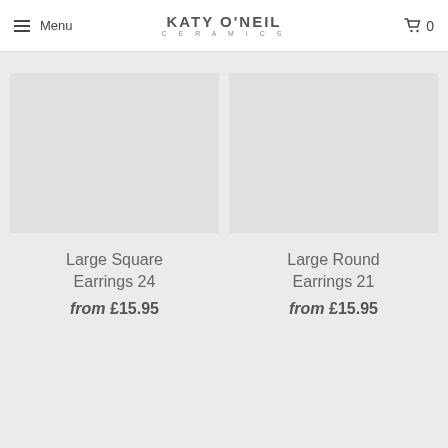Menu | KATY O'NEIL CERAMICS | Cart 0
[Figure (illustration): Product image placeholder for Large Square Earrings 24]
Large Square Earrings 24
from £15.95
[Figure (illustration): Product image placeholder for Large Round Earrings 21]
Large Round Earrings 21
from £15.95